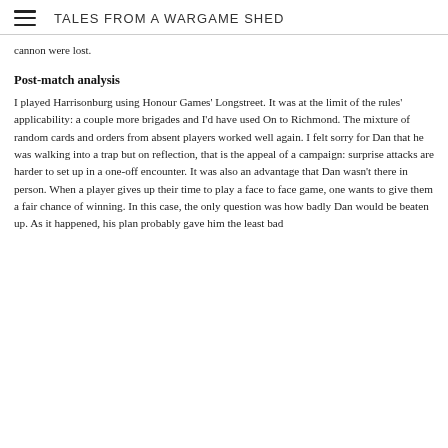TALES FROM A WARGAME SHED
cannon were lost.
Post-match analysis
I played Harrisonburg using Honour Games' Longstreet. It was at the limit of the rules' applicability: a couple more brigades and I'd have used On to Richmond. The mixture of random cards and orders from absent players worked well again. I felt sorry for Dan that he was walking into a trap but on reflection, that is the appeal of a campaign: surprise attacks are harder to set up in a one-off encounter. It was also an advantage that Dan wasn't there in person. When a player gives up their time to play a face to face game, one wants to give them a fair chance of winning. In this case, the only question was how badly Dan would be beaten up. As it happened, his plan probably gave him the least bad